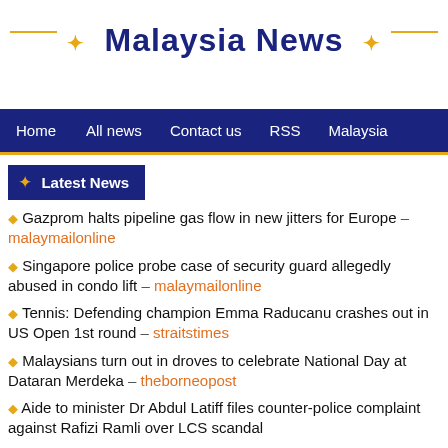Malaysia News
Home  All news  Contact us  RSS  Malaysia
Latest News
Gazprom halts pipeline gas flow in new jitters for Europe – malaymailonline
Singapore police probe case of security guard allegedly abused in condo lift – malaymailonline
Tennis: Defending champion Emma Raducanu crashes out in US Open 1st round – straitstimes
Malaysians turn out in droves to celebrate National Day at Dataran Merdeka – theborneopost
Aide to minister Dr Abdul Latiff files counter-police complaint against Rafizi Ramli over LCS scandal